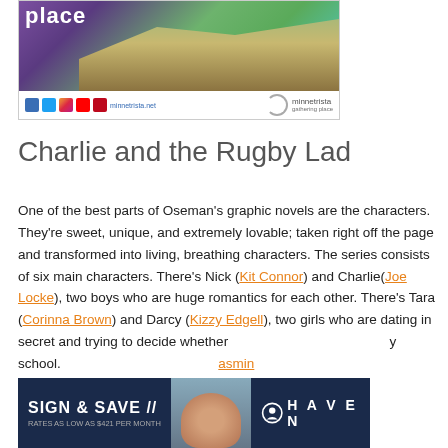[Figure (photo): Advertisement banner for Minnetrista gathering place showing a wooden bridge/boardwalk with nature background, social media icons, minnetrista.net URL, and logo]
Charlie and the Rugby Lad
One of the best parts of Oseman's graphic novels are the characters. They're sweet, unique, and extremely lovable; taken right off the page and transformed into living, breathing characters. The series consists of six main characters. There's Nick (Kit Connor) and Charlie(Joe Locke), two boys who are huge romantics for each other. There's Tara (Corinna Brown) and Darcy (Kizzy Edgell), two girls who are dating in secret and trying to decide whethe... ...y school. ...asmin
[Figure (photo): Advertisement banner: SIGN & SAVE, RATES AS LOW AS $421 PER MONTH, Haven logo, dark navy background with person photo]